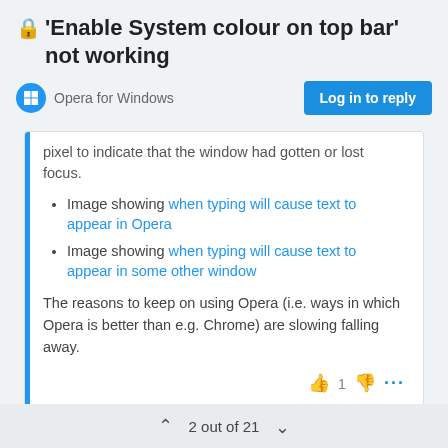🔒'Enable System colour on top bar' not working
Opera for Windows
pixel to indicate that the window had gotten or lost focus.
Image showing when typing will cause text to appear in Opera
Image showing when typing will cause text to appear in some other window
The reasons to keep on using Opera (i.e. ways in which Opera is better than e.g. Chrome) are slowing falling away.
2 out of 21